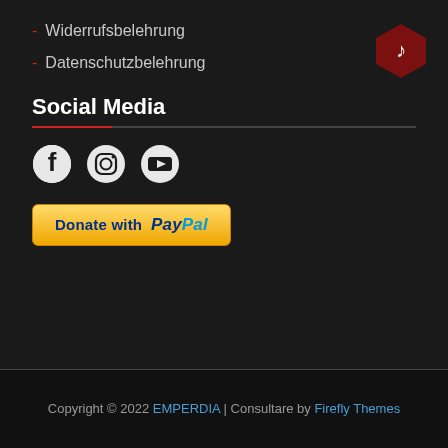Widerrufsbelehrung
Datenschutzbelehrung
[Figure (illustration): Dark red hexagon badge with musical note icon in top right corner]
Social Media
[Figure (illustration): Three social media icons: Facebook, Instagram, YouTube]
[Figure (illustration): Donate with PayPal button]
Copyright © 2022 EMPERDIA | Consultare by Firefly Themes